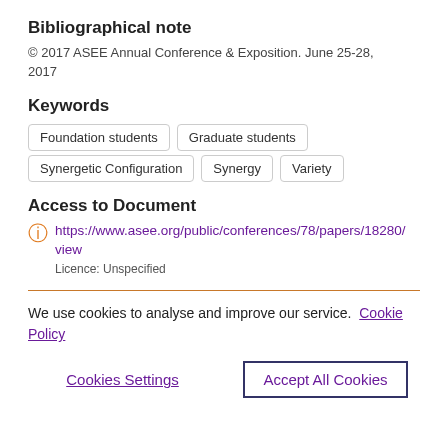Bibliographical note
© 2017 ASEE Annual Conference & Exposition. June 25-28, 2017
Keywords
Foundation students
Graduate students
Synergetic Configuration
Synergy
Variety
Access to Document
https://www.asee.org/public/conferences/78/papers/18280/view
Licence: Unspecified
We use cookies to analyse and improve our service. Cookie Policy
Cookies Settings
Accept All Cookies